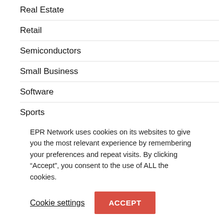Real Estate
Retail
Semiconductors
Small Business
Software
Sports
Technology
Telecommunications
Transportation & Logistics
EPR Network uses cookies on its websites to give you the most relevant experience by remembering your preferences and repeat visits. By clicking “Accept”, you consent to the use of ALL the cookies.
Cookie settings  ACCEPT